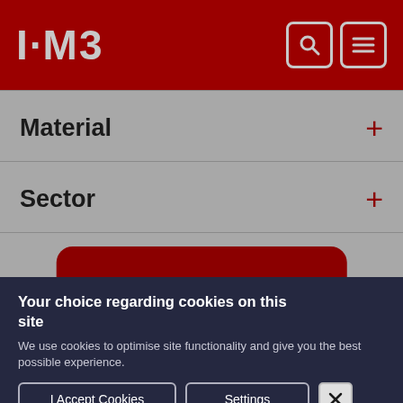[Figure (screenshot): I·M3 website header with dark red background, logo text 'I·M3' in gray on left, and two icon buttons (search, menu) on right in rounded square outlines]
Material +
Sector +
Your choice regarding cookies on this site
We use cookies to optimise site functionality and give you the best possible experience.
I Accept Cookies
Settings
×